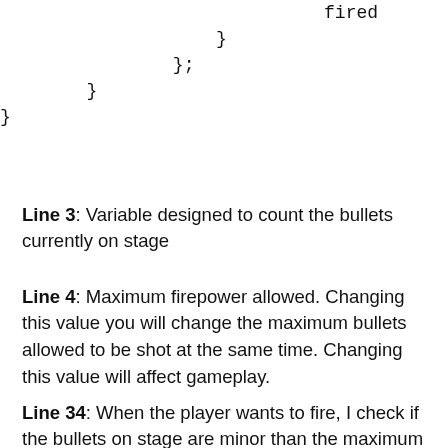fired
    }
  };
  }
}
Line 3: Variable designed to count the bullets currently on stage
Line 4: Maximum firepower allowed. Changing this value you will change the maximum bullets allowed to be shot at the same time. Changing this value will affect gameplay.
Line 34: When the player wants to fire, I check if the bullets on stage are minor than the maximum bullets allowrd
Line 35: if true...